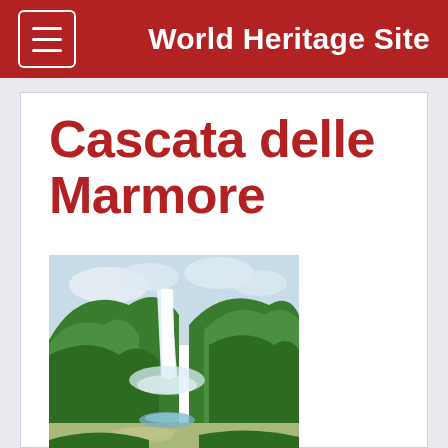World Heritage Site
Cascata delle Marmore
[Figure (photo): Photograph of Cascata delle Marmore waterfall surrounded by lush green forested hills with mist rising from the cascade and a garden/plaza area visible at the base.]